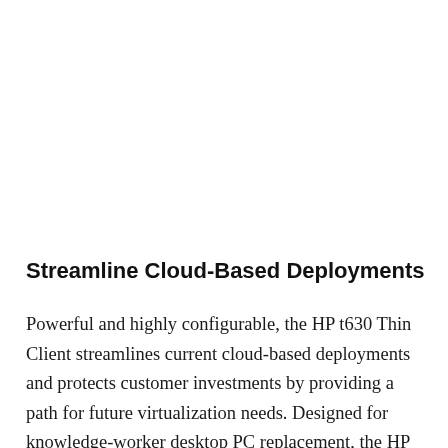Streamline Cloud-Based Deployments
Powerful and highly configurable, the HP t630 Thin Client streamlines current cloud-based deployments and protects customer investments by providing a path for future virtualization needs. Designed for knowledge-worker desktop PC replacement, the HP t630 boasts a new generation, uniquely optimized embedded x86 quad-core system-on-a chip from AMD, integrated